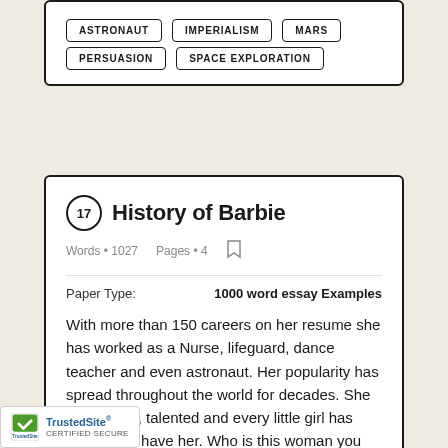ASTRONAUT
IMPERIALISM
MARS
PERSUASION
SPACE EXPLORATION
17 History of Barbie
Words • 1027   Pages • 4
Paper Type:   1000 word essay Examples
With more than 150 careers on her resume she has worked as a Nurse, lifeguard, dance teacher and even astronaut. Her popularity has spread throughout the world for decades. She is beautiful, talented and every little girl has yearned to have her. Who is this woman you may ask? Her name is Barbie. I will be speaking about the History, popularity, and controversies